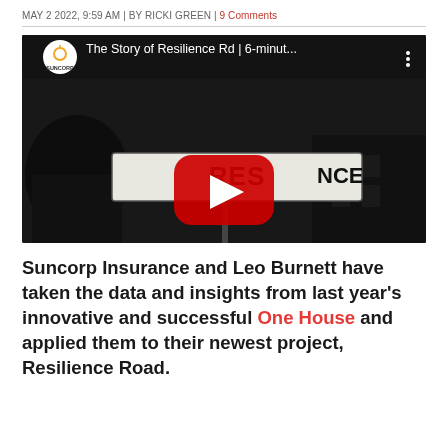MAY 2 2022, 9:59 AM | BY RICKI GREEN | 9 Comments
[Figure (screenshot): YouTube video thumbnail showing 'The Story of Resilience Rd | 6-minut...' with Suncorp logo and a dark image of a street sign reading RESILIENCE RD with a red YouTube play button overlay]
Suncorp Insurance and Leo Burnett have taken the data and insights from last year's innovative and successful One House and applied them to their newest project, Resilience Road.